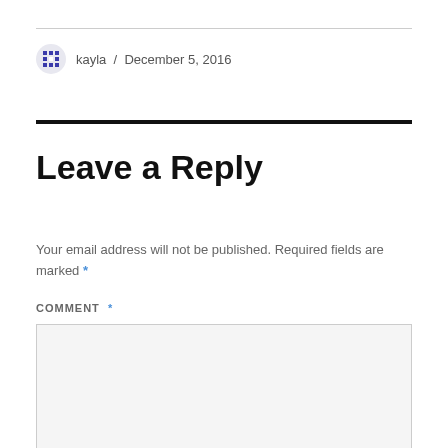kayla / December 5, 2016
Leave a Reply
Your email address will not be published. Required fields are marked *
COMMENT *